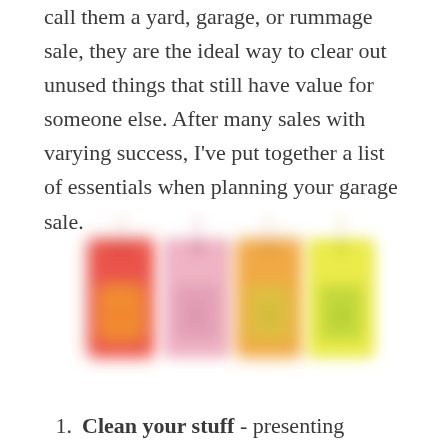call them a yard, garage, or rummage sale, they are the ideal way to clear out unused things that still have value for someone else. After many sales with varying success, I've put together a list of essentials when planning your garage sale.
[Figure (illustration): Four colorful price tag stickers arranged side by side: red, pink, orange, and yellow, each with a small string at the top, blurred/soft illustration style.]
Clean your stuff - presenting